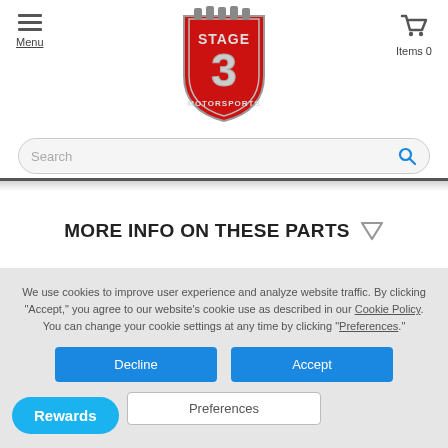[Figure (logo): Stage 3 Motorsports logo — red shield with silver '3' and engine pistons on top]
Menu
Items 0
Search
MORE INFO ON THESE PARTS ▽
We use cookies to improve user experience and analyze website traffic. By clicking "Accept," you agree to our website's cookie use as described in our Cookie Policy. You can change your cookie settings at any time by clicking "Preferences."
Decline
Accept
Preferences
Rewards